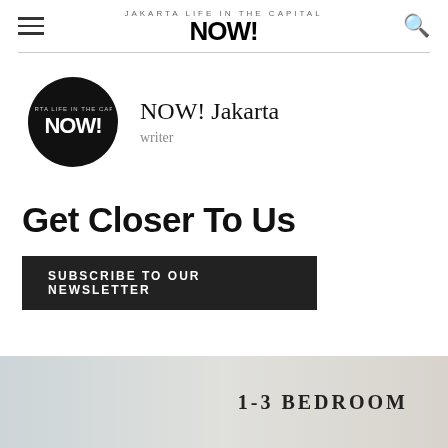NOW! Jakarta - navigation header with hamburger menu, logo, and search icon
[Figure (logo): NOW! Jakarta logo in black circle with 'JAKARTA LIFE IN THE CAPITAL' tagline above]
NOW! Jakarta
writer
Get Closer To Us
SUBSCRIBE TO OUR NEWSLETTER
[Figure (photo): Partial view of a bedroom interior with text '1-3 BEDROOM']